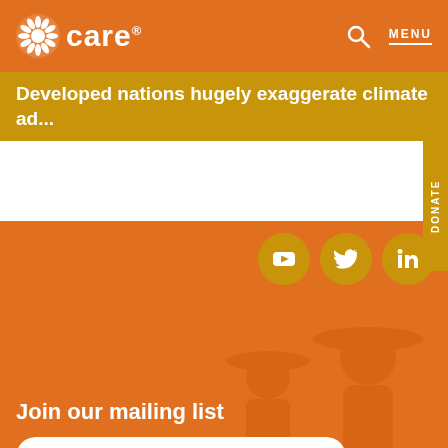CARE
Developed nations hugely exaggerate climate ad...
DONATE
[Figure (logo): CARE organization logo with sunburst icon]
Join our mailing list
First name